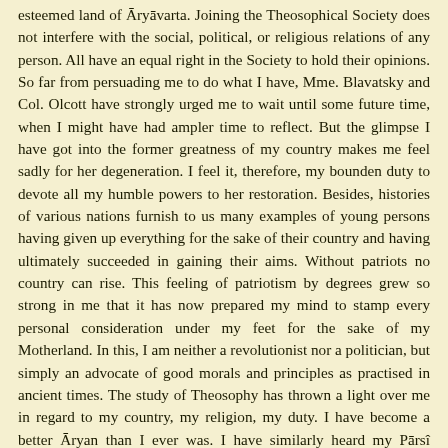esteemed land of Āryāvarta. Joining the Theosophical Society does not interfere with the social, political, or religious relations of any person. All have an equal right in the Society to hold their opinions. So far from persuading me to do what I have, Mme. Blavatsky and Col. Olcott have strongly urged me to wait until some future time, when I might have had ampler time to reflect. But the glimpse I have got into the former greatness of my country makes me feel sadly for her degeneration. I feel it, therefore, my bounden duty to devote all my humble powers to her restoration. Besides, histories of various nations furnish to us many examples of young persons having given up everything for the sake of their country and having ultimately succeeded in gaining their aims. Without patriots no country can rise. This feeling of patriotism by degrees grew so strong in me that it has now prepared my mind to stamp every personal consideration under my feet for the sake of my Motherland. In this, I am neither a revolutionist nor a politician, but simply an advocate of good morals and principles as practised in ancient times. The study of Theosophy has thrown a light over me in regard to my country, my religion, my duty. I have become a better Āryan than I ever was. I have similarly heard my Pārsî brothers say that they have been better Zoroastrians since they joined the Theosophical Society. I have also seen the Buddhists write often to the Society that